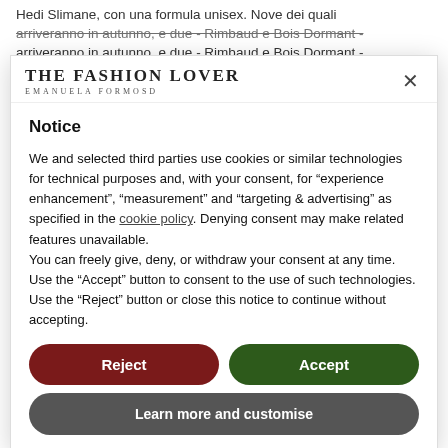Hedi Slimane, con una formula unisex. Nove dei quali arriveranno in autunno, e due - Rimbaud e Bois Dormant -
[Figure (logo): The Fashion Lover logo with subtitle 'Emanuela Formoso']
Notice
We and selected third parties use cookies or similar technologies for technical purposes and, with your consent, for “experience enhancement”, “measurement” and “targeting & advertising” as specified in the cookie policy. Denying consent may make related features unavailable.
You can freely give, deny, or withdraw your consent at any time. Use the “Accept” button to consent to the use of such technologies. Use the “Reject” button or close this notice to continue without accepting.
Reject
Accept
Learn more and customise